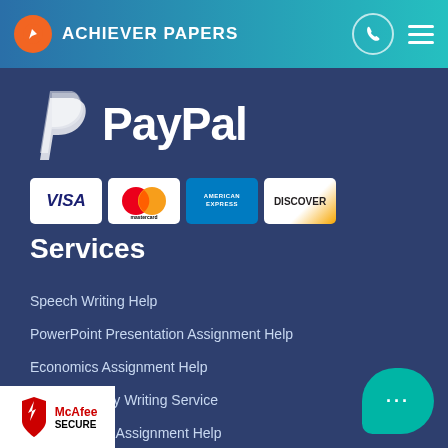ACHIEVER PAPERS
[Figure (logo): PayPal logo with P symbol and PayPal wordmark in white on dark blue background]
[Figure (infographic): Payment method icons: Visa, Mastercard, American Express, Discover]
Services
Speech Writing  Help
PowerPoint Presentation Assignment Help
Economics Assignment Help
Custom Essay Writing Service
Anthropology Assignment Help
Thesis Writing Services Online
Writing Services
[Figure (logo): McAfee SECURE badge]
[Figure (other): Teal chat bubble with three dots]